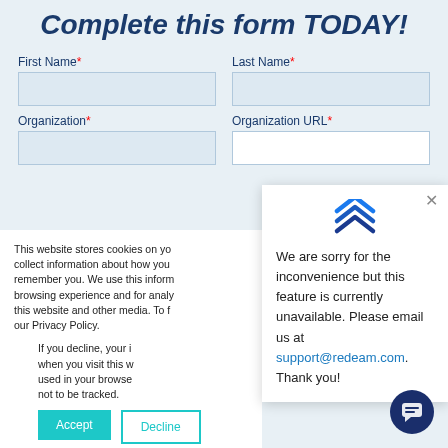Complete this form TODAY!
First Name* [input field]
Last Name* [input field]
Organization* [input field]
Organization URL* [input field]
This website stores cookies on yo... collect information about how you... remember you. We use this inform... browsing experience and for analy... this website and other media. To f... our Privacy Policy.
If you decline, your i... when you visit this w... used in your browse... not to be tracked.
We are sorry for the inconvenience but this feature is currently unavailable. Please email us at support@redeam.com. Thank you!
Accept
Decline